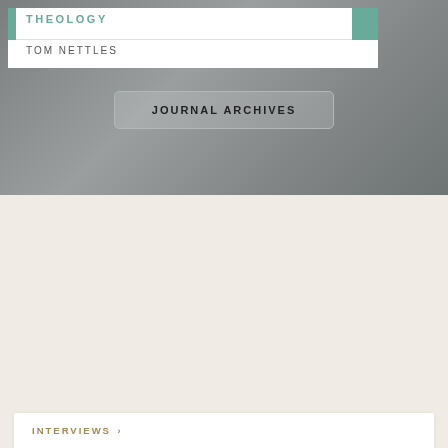THEOLOGY
TOM NETTLES
JOURNAL ARCHIVES
INTERVIEWS ›
[Figure (logo): The Sword and the Trowel circular logo with a sword and trowel illustration in black on a tan/kraft paper background]